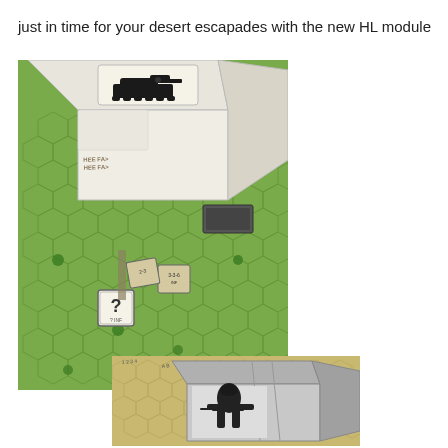just in time for your desert escapades with the new HL module
[Figure (photo): Photo of a board game box component with a black silhouette tank image on white tiles/blocks, placed on a green hexagonal game board with counters/tokens including one with a question mark]
[Figure (photo): Photo of a grey board game box/tray component with a black and white soldier/figure image on it, placed on a yellowish-tan hexagonal game map]